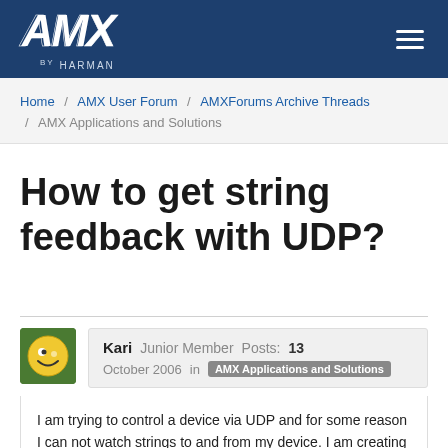AMX by HARMAN
Home / AMX User Forum / AMXForums Archive Threads / AMX Applications and Solutions
How to get string feedback with UDP?
Kari  Junior Member  Posts: 13  October 2006  in  AMX Applications and Solutions
I am trying to control a device via UDP and for some reason I can not watch strings to and from my device. I am creating a client connection and